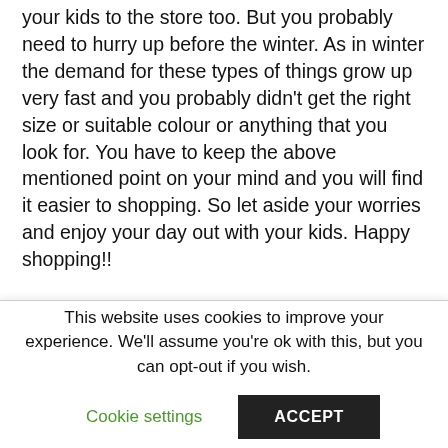your kids to the store too. But you probably need to hurry up before the winter. As in winter the demand for these types of things grow up very fast and you probably didn't get the right size or suitable colour or anything that you look for. You have to keep the above mentioned point on your mind and you will find it easier to shopping. So let aside your worries and enjoy your day out with your kids. Happy shopping!!
This website uses cookies to improve your experience. We'll assume you're ok with this, but you can opt-out if you wish.
Cookie settings
ACCEPT